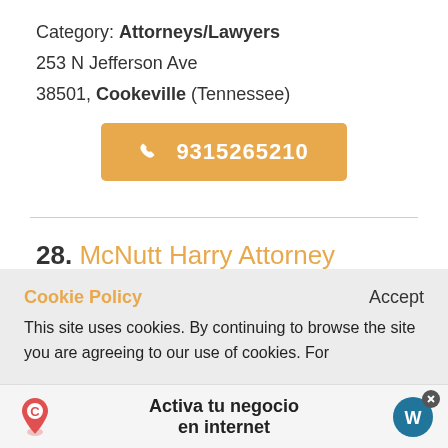Category: Attorneys/Lawyers
253 N Jefferson Ave
38501, Cookeville (Tennessee)
9315265210
28. McNutt Harry Attorney
Category: Attorneys/Lawyers
Cookie Policy
This site uses cookies. By continuing to browse the site you are agreeing to our use of cookies. For
Activa tu negocio en internet